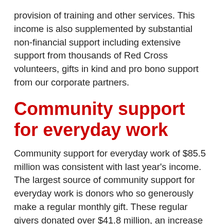provision of training and other services. This income is also supplemented by substantial non-financial support including extensive support from thousands of Red Cross volunteers, gifts in kind and pro bono support from our corporate partners.
Community support for everyday work
Community support for everyday work of $85.5 million was consistent with last year's income. The largest source of community support for everyday work is donors who so generously make a regular monthly gift. These regular givers donated over $41.8 million, an increase of $4.5 million (12%) on last year. Regular giving accounts for 49% of income received for everyday (non-disaster appeal) work. There was also growth in income attributable to trusts and foundations as well as member and community groups.